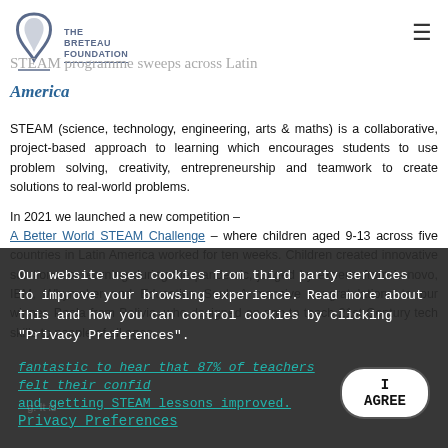The Breteau Foundation
STEAM programme sweeps across Latin America
STEAM (science, technology, engineering, arts & maths) is a collaborative, project-based approach to learning which encourages students to use problem solving, creativity, entrepreneurship and teamwork to create solutions to real-world problems.
In 2021 we launched a new competition – A Better World STEAM Challenge – where children aged 9-13 across five countries in Latin America worked for ten weeks. Children created innovative solutions for learning during the pandemic, judged by experts from Lenovo, IBM, Whymaker and Education Soul. A massive congratulations to our winner, Paola from Bolivia, who designed an app to teach 21st Century tech skills to people of all ages.
fantastic to hear that 87% of teachers felt their confidence in planning and getting STEAM lessons improved.
Our website uses cookies from third party services to improve your browsing experience. Read more about this and how you can control cookies by clicking "Privacy Preferences".
Privacy Preferences
I AGREE